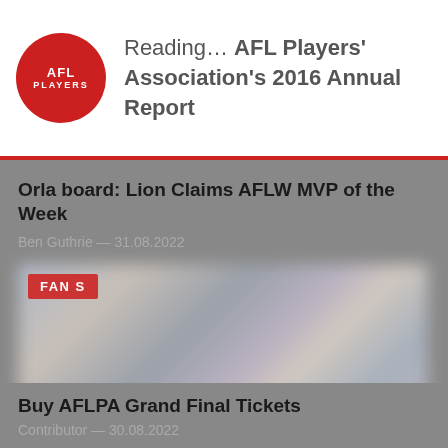Reading… AFL Players' Association's 2016 Annual Report
Orla board: Lion Claims AFLW MVP of the Week
Ben Guthrie — 31.08.2022
[Figure (photo): Blurred photo of a person, with a red 'FANS' badge in the top left corner]
Buy AFLPA Grand Final Tickets
Contributor — 30.08.2022